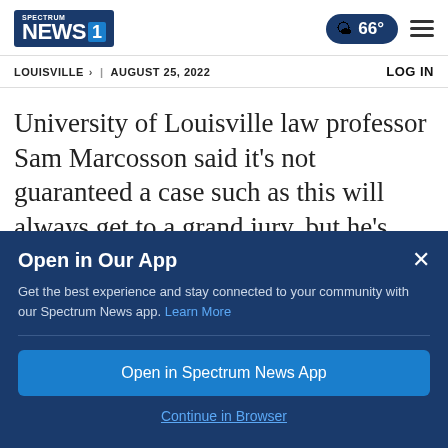Spectrum News 1
LOUISVILLE > | AUGUST 25, 2022
LOG IN
University of Louisville law professor Sam Marcosson said it's not guaranteed a case such as this will always get to a grand jury, but he's nearly certain it will with Taylor's death being so highly publicized.
Open in Our App
Get the best experience and stay connected to your community with our Spectrum News app. Learn More
Open in Spectrum News App
Continue in Browser